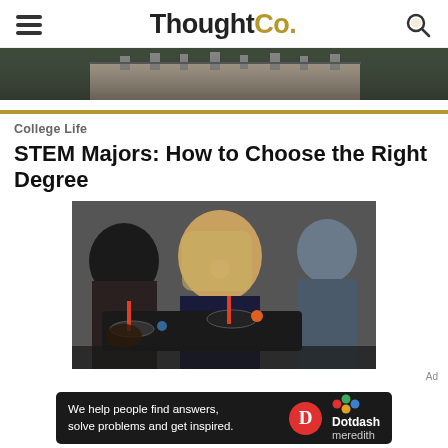ThoughtCo.
[Figure (photo): Partial view of a building/campus with rooftop chimneys, dark sky, cropped at top]
College Life
STEM Majors: How to Choose the Right Degree
[Figure (photo): Students working on a drone/quadcopter device in a workshop or lab setting. A young blonde woman in the foreground and another student to the left.]
Ad
We help people find answers, solve problems and get inspired. Dotdash meredith